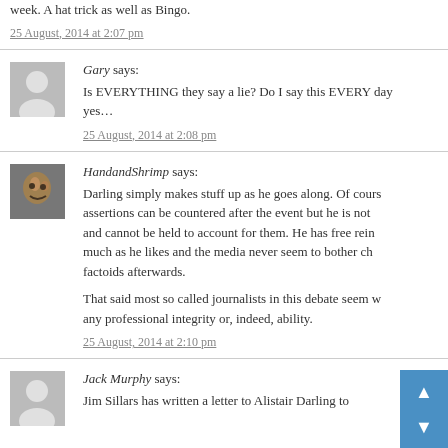week. A hat trick as well as Bingo.
25 August, 2014 at 2:07 pm
Gary says:
Is EVERYTHING they say a lie? Do I say this EVERY day... yes...
25 August, 2014 at 2:08 pm
HandandShrimp says:
Darling simply makes stuff up as he goes along. Of course his assertions can be countered after the event but he is not and cannot be held to account for them. He has free rein to say as much as he likes and the media never seem to bother checking his factoids afterwards.
That said most so called journalists in this debate seem w... any professional integrity or, indeed, ability.
25 August, 2014 at 2:10 pm
Jack Murphy says:
Jim Sillars has written a letter to Alistair Darling to...